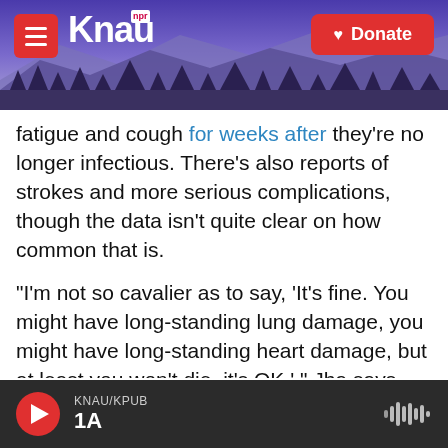[Figure (screenshot): KNAU NPR radio website header with purple mountain background, hamburger menu button, KNAU logo, and red Donate button]
fatigue and cough for weeks after they're no longer infectious. There's also reports of strokes and more serious complications, though the data isn't quite clear on how common that is.
"I'm not so cavalier as to say, 'It's fine. You might have long-standing lung damage, you might have long-standing heart damage, but at least you won't die, it's OK,' " Jha says.
In a statement to NPR, Atlas says that he has never told the president or the White House to pursue a herd immunity strategy. However, he continues to
KNAU/KPUB 1A